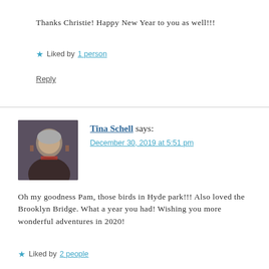Thanks Christie! Happy New Year to you as well!!!
★ Liked by 1 person
Reply
Tina Schell says:
December 30, 2019 at 5:51 pm
Oh my goodness Pam, those birds in Hyde park!!! Also loved the Brooklyn Bridge. What a year you had! Wishing you more wonderful adventures in 2020!
★ Liked by 2 people